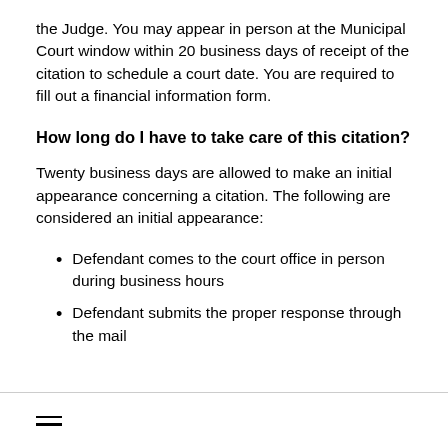the Judge. You may appear in person at the Municipal Court window within 20 business days of receipt of the citation to schedule a court date. You are required to fill out a financial information form.
How long do I have to take care of this citation?
Twenty business days are allowed to make an initial appearance concerning a citation. The following are considered an initial appearance:
Defendant comes to the court office in person during business hours
Defendant submits the proper response through the mail
≡